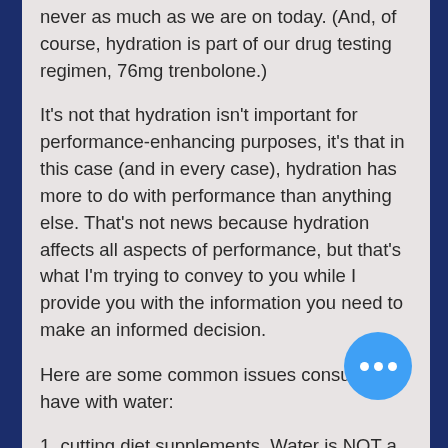never as much as we are on today. (And, of course, hydration is part of our drug testing regimen, 76mg trenbolone.)
It's not that hydration isn't important for performance-enhancing purposes, it's that in this case (and in every case), hydration has more to do with performance than anything else. That's not news because hydration affects all aspects of performance, but that's what I'm trying to convey to you while I provide you with the information you need to make an informed decision.
Here are some common issues consumers have with water:
1, cutting diet supplements. Water is NOT a fluid. You can't just add water to your drink and call it a drink – unless of course you're using a syringe or a plastic bottle